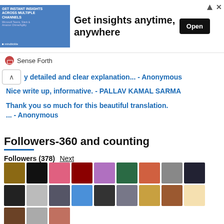[Figure (screenshot): Advertisement banner: 'Get insights anytime, anywhere' with Open button]
Sense Forth
y detailed and clear explanation... - Anonymous
Nice write up, informative. - PALLAV KAMAL SARMA
Thank you so much for this beautiful translation. ... - Anonymous
Followers-360 and counting
Followers (378) Next
[Figure (photo): Grid of follower avatar images, two rows of 9 avatars each plus a partial third row]